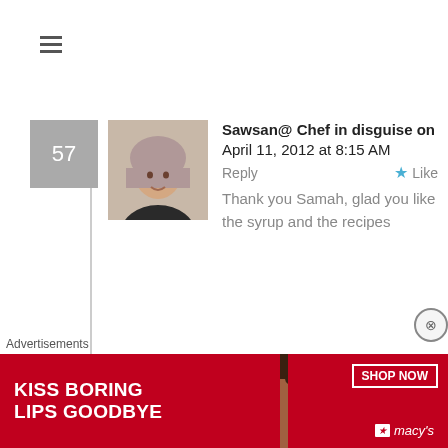[Figure (screenshot): Hamburger menu icon (three horizontal lines) at top left]
Sawsan@ Chef in disguise on April 11, 2012 at 8:15 AM
Reply  ★ Like
Thank you Samah, glad you like the syrup and the recipes
Maureen (@OrgasmicChef) on April 10, 2012 at 5:59 PM  Reply ★ Like
I love this syrup and all those strawberry things have me looking at the calendar. The first local strawberries start at the end of May. I
Advertisements
[Figure (photo): Macy's advertisement banner: red background with text KISS BORING LIPS GOODBYE, woman with red lips, SHOP NOW button, macy's star logo]